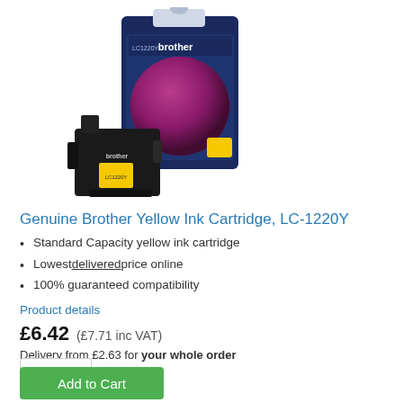[Figure (photo): Brother LC-1220Y yellow ink cartridge product photo showing the cartridge unit and its retail box packaging against a white background]
Genuine Brother Yellow Ink Cartridge, LC-1220Y
Standard Capacity yellow ink cartridge
Lowest delivered price online
100% guaranteed compatibility
Product details
£6.42 (£7.71 inc VAT)
Delivery from £2.63 for your whole order
1
Add to Cart